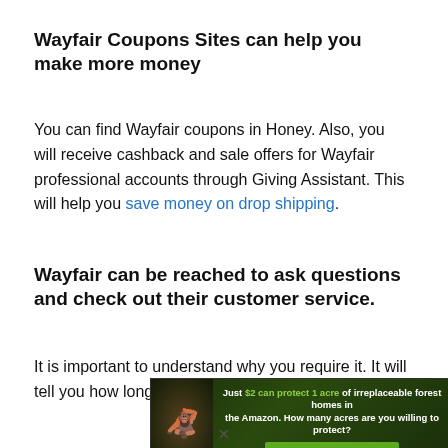Wayfair Coupons Sites can help you make more money
You can find Wayfair coupons in Honey. Also, you will receive cashback and sale offers for Wayfair professional accounts through Giving Assistant. This will help you save money on drop shipping.
Wayfair can be reached to ask questions and check out their customer service.
It is important to understand why you require it. It will tell you how long it takes them to respond and what
[Figure (infographic): Advertisement banner: Just $2 can protect 1 acre of irreplaceable forest homes in the Amazon. How many acres are you willing to protect? PROTECT FORESTS NOW button. Features image of an orangutan in forest background.]